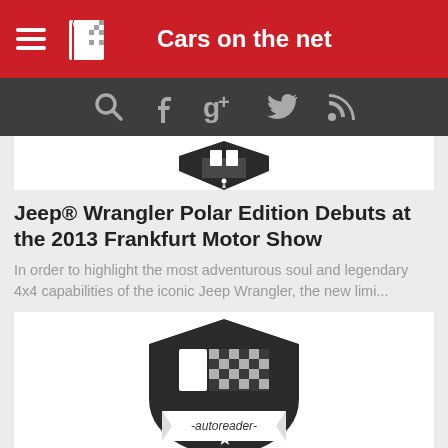Cars on the net
[Figure (logo): Cars on the net logo with book and checkered flag icon, white on red background]
[Figure (infographic): Social media icons: search, Facebook, Google+, Twitter, RSS feed on dark gray bar]
[Figure (logo): Partial dark badge/shield logo at top of first article card]
Jeep® Wrangler Polar Edition Debuts at the 2013 Frankfurt Motor Show
In order to highlight the most adventurous soul and legendary 4x4 capabilities of the iconic Jeep Wrangler, the new limi...
[Figure (logo): Autoreader badge logo - dark shield with book and checkered flag pattern, banner reading -autoreader-]
Jeep® Compass: The Refreshed